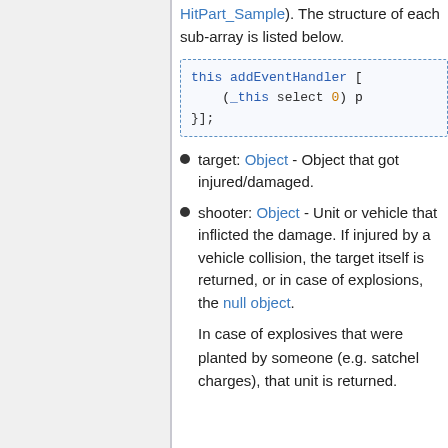HitPart_Sample). The structure of each sub-array is listed below.
[Figure (screenshot): Code block with dashed blue border showing: this addEventHandler [ (_this select 0) p }];]
target: Object - Object that got injured/damaged.
shooter: Object - Unit or vehicle that inflicted the damage. If injured by a vehicle collision, the target itself is returned, or in case of explosions, the null object.
In case of explosives that were planted by someone (e.g. satchel charges), that unit is returned.